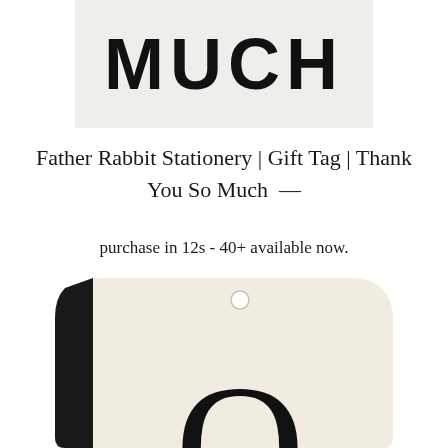[Figure (photo): Partial view of a gift tag showing the word MUCH in large bold sans-serif letters on a light grey background]
Father Rabbit Stationery | Gift Tag | Thank You So Much —
purchase in 12s - 40+ available now.
[Figure (illustration): A cream/off-white gift tag shape with a hole at the top and a thick black left border, showing the bottom of a large decorative letter O]